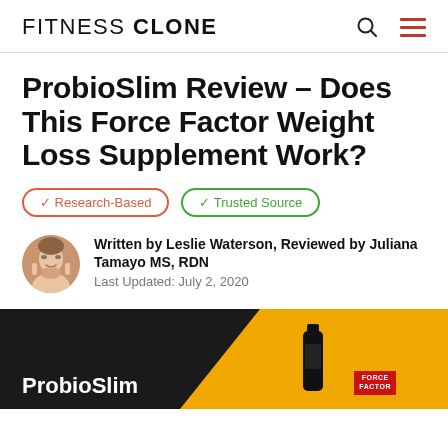FITNESS CLONE
ProbioSlim Review – Does This Force Factor Weight Loss Supplement Work?
✓ Research-Based   ✓ Trusted Source
Written by Leslie Waterson, Reviewed by Juliana Tamayo MS, RDN
Last Updated: July 2, 2020
[Figure (photo): ProbioSlim product hero image with dark background, yellow diagonal stripe, ProbioSlim text in white, and Force Factor supplement bottle]